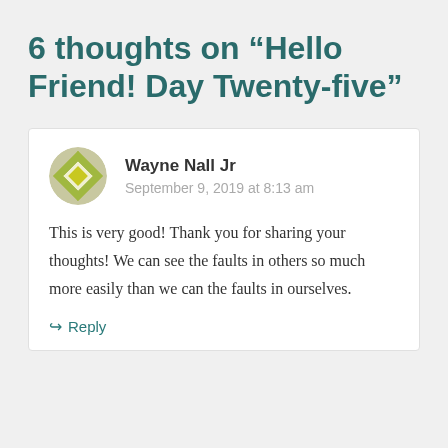6 thoughts on “Hello Friend! Day Twenty-five”
Wayne Nall Jr
September 9, 2019 at 8:13 am
This is very good! Thank you for sharing your thoughts! We can see the faults in others so much more easily than we can the faults in ourselves.
↳ Reply